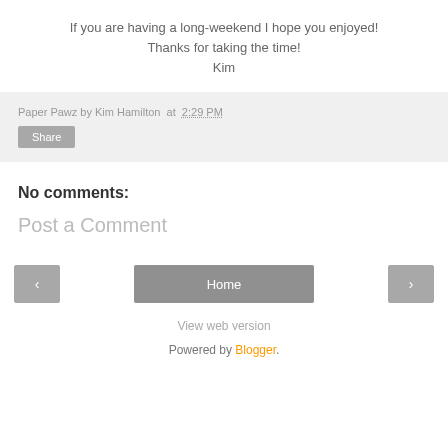If you are having a long-weekend I hope you enjoyed!
Thanks for taking the time!
Kim
Paper Pawz by Kim Hamilton at 2:29 PM
Share
No comments:
Post a Comment
< Home >
View web version
Powered by Blogger.